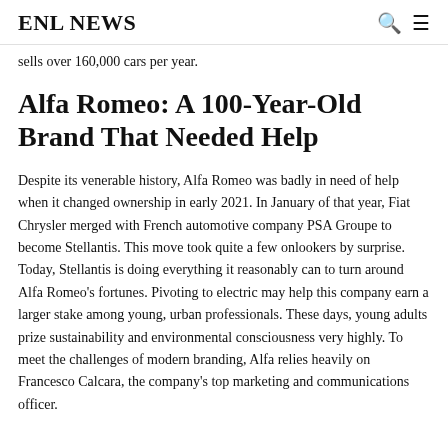ENL NEWS
sells over 160,000 cars per year.
Alfa Romeo: A 100-Year-Old Brand That Needed Help
Despite its venerable history, Alfa Romeo was badly in need of help when it changed ownership in early 2021. In January of that year, Fiat Chrysler merged with French automotive company PSA Groupe to become Stellantis. This move took quite a few onlookers by surprise. Today, Stellantis is doing everything it reasonably can to turn around Alfa Romeo's fortunes. Pivoting to electric may help this company earn a larger stake among young, urban professionals. These days, young adults prize sustainability and environmental consciousness very highly. To meet the challenges of modern branding, Alfa relies heavily on Francesco Calcara, the company's top marketing and communications officer.